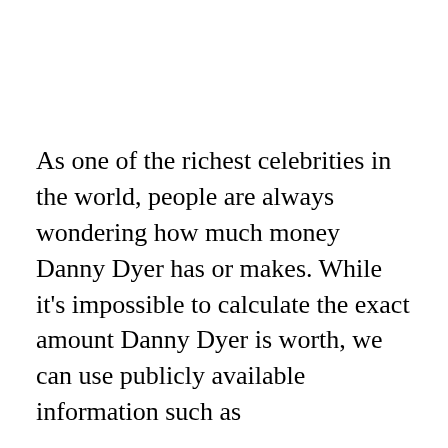As one of the richest celebrities in the world, people are always wondering how much money Danny Dyer has or makes. While it's impossible to calculate the exact amount Danny Dyer is worth, we can use publicly available information such as